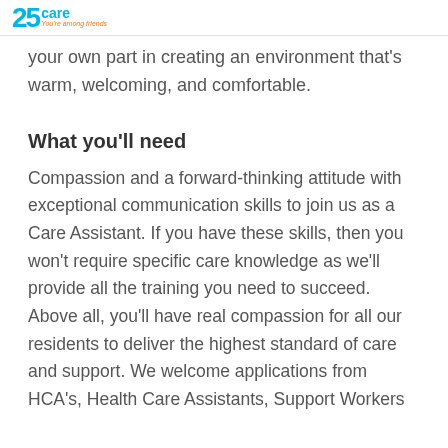25 care You're among friends
your own part in creating an environment that's warm, welcoming, and comfortable.
What you'll need
Compassion and a forward-thinking attitude with exceptional communication skills to join us as a Care Assistant. If you have these skills, then you won't require specific care knowledge as we'll provide all the training you need to succeed. Above all, you'll have real compassion for all our residents to deliver the highest standard of care and support. We welcome applications from HCA's, Health Care Assistants, Support Workers